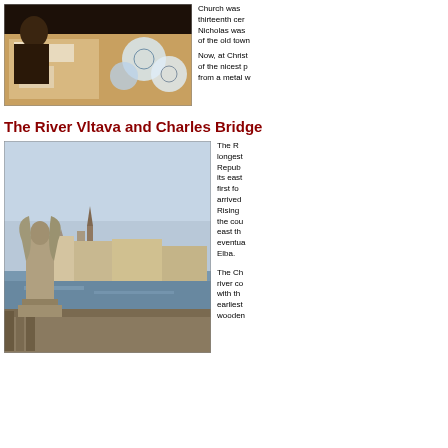[Figure (photo): Indoor Christmas market stall with decorative glass ornaments and merchandise on display, people browsing]
Church was thirteenth cer Nicholas was of the old town
Now, at Christ of the nicest p from a metal w
The River Vltava and Charles Bridge
[Figure (photo): View from Charles Bridge over the River Vltava in Prague, with a baroque statue in the foreground and the city skyline in the background]
The R longest Repub its east first fo arrived Rising the cou east th eventua Elba.
The Ch river co with th earliest wooden